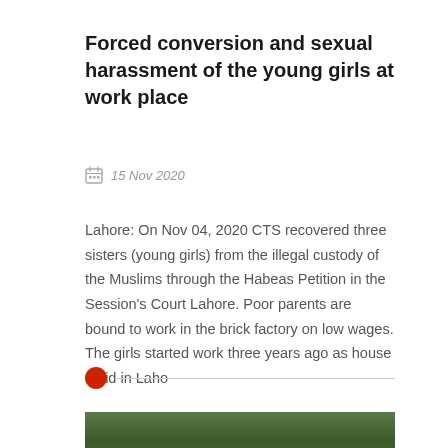Forced conversion and sexual harassment of the young girls at work place
15 Nov 2020
Lahore: On Nov 04, 2020 CTS recovered three sisters (young girls) from the illegal custody of the Muslims through the Habeas Petition in the Session's Court Lahore. Poor parents are bound to work in the brick factory on low wages. The girls started work three years ago as house maid in Laho
[Figure (photo): Photograph of people on a road surrounded by vegetation, partially visible at bottom of page]